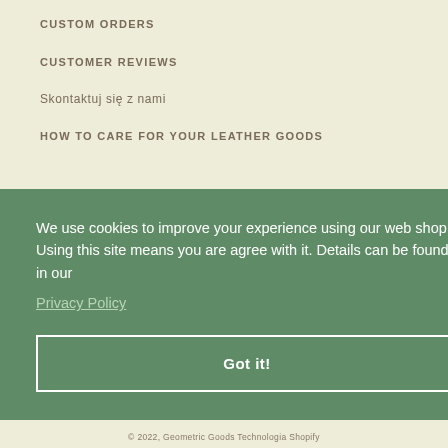CUSTOM ORDERS
CUSTOMER REVIEWS
Skontaktuj się z nami
HOW TO CARE FOR YOUR LEATHER GOODS
We use cookies to improve your experience using our web shop. Using this site means you are agree with it. Details can be found in our Privacy Policy
Got it!
© 2022, Geometric Goods Technologia Shopify